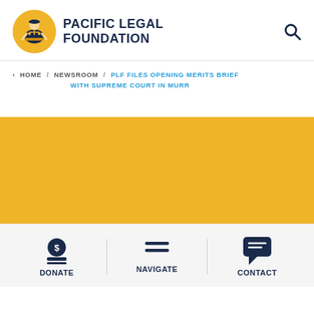[Figure (logo): Pacific Legal Foundation logo: circular yellow badge with figure of a lawyer/justice at a desk, navy text 'PACIFIC LEGAL FOUNDATION' beside it]
< HOME / NEWSROOM / PLF FILES OPENING MERITS BRIEF WITH SUPREME COURT IN MURR
[Figure (illustration): Golden/yellow banner background section]
DONATE   NAVIGATE   CONTACT